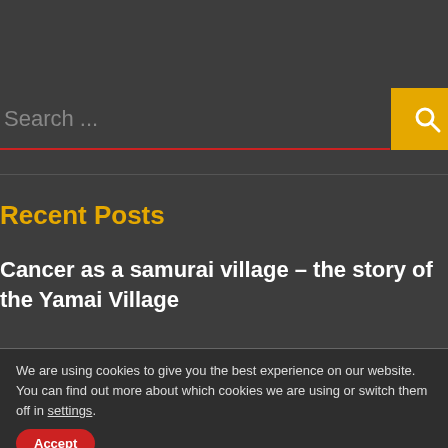Search ...
Recent Posts
Cancer as a samurai village – the story of the Yamai Village
We are using cookies to give you the best experience on our website.
You can find out more about which cookies we are using or switch them off in settings.
Accept